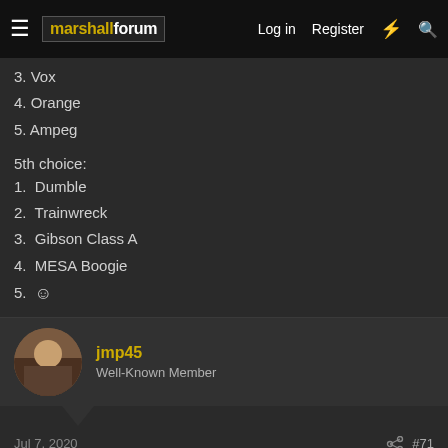marshallforum — Log in   Register
3. Vox
4. Orange
5. Ampeg
5th choice:
1. Dumble
2. Trainwreck
3. Gibson Class A
4. MESA Boogie
5. 🙂
jmp45
Well-Known Member
Jul 7, 2020   #71
Marshall, Vox, Fender, Industrial Amps, Boogie